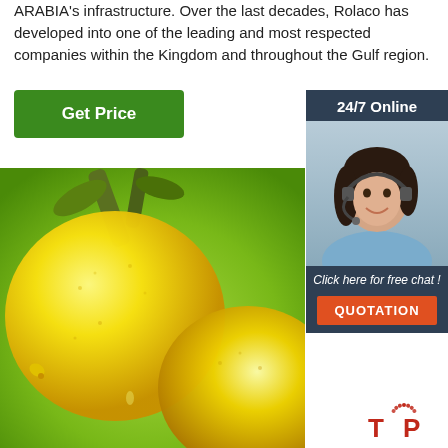ARABIA's infrastructure. Over the last decades, Rolaco has developed into one of the leading and most respected companies within the Kingdom and throughout the Gulf region.
[Figure (other): Green 'Get Price' button]
[Figure (other): 24/7 Online support sidebar with woman wearing headset, 'Click here for free chat!' text and orange QUOTATION button]
[Figure (photo): Close-up photo of two yellow lemons on a branch with green leaves]
[Figure (logo): TOP watermark logo in red with dotted arc above]